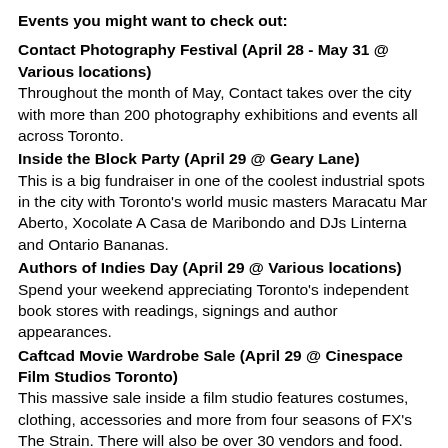Events you might want to check out:
Contact Photography Festival (April 28 - May 31 @ Various locations)
Throughout the month of May, Contact takes over the city with more than 200 photography exhibitions and events all across Toronto.
Inside the Block Party (April 29 @ Geary Lane)
This is a big fundraiser in one of the coolest industrial spots in the city with Toronto's world music masters Maracatu Mar Aberto, Xocolate A Casa de Maribondo and DJs Linterna and Ontario Bananas.
Authors of Indies Day (April 29 @ Various locations)
Spend your weekend appreciating Toronto's independent book stores with readings, signings and author appearances.
Caftcad Movie Wardrobe Sale (April 29 @ Cinespace Film Studios Toronto)
This massive sale inside a film studio features costumes, clothing, accessories and more from four seasons of FX's The Strain. There will also be over 30 vendors and food.
Pipeline Protest 2017 (April 29 @ Queen's Park)
Have your voice heard in opposition of the three recently